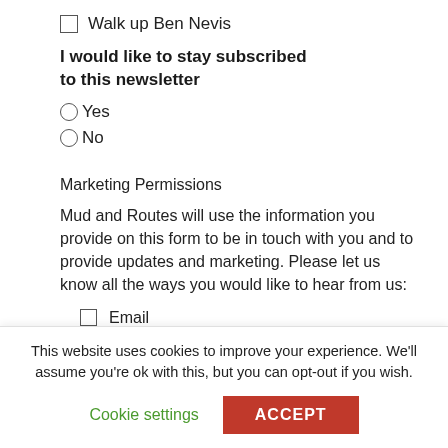Walk up Ben Nevis
I would like to stay subscribed to this newsletter
Yes
No
Marketing Permissions
Mud and Routes will use the information you provide on this form to be in touch with you and to provide updates and marketing. Please let us know all the ways you would like to hear from us:
Email
This website uses cookies to improve your experience. We'll assume you're ok with this, but you can opt-out if you wish.
Cookie settings
ACCEPT